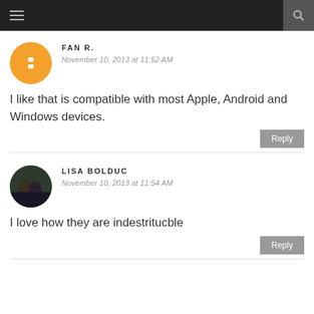Navigation menu and search bar
FAN R.
November 10, 2013 at 11:52 AM
I like that is compatible with most Apple, Android and Windows devices.
LISA BOLDUC
November 10, 2013 at 11:54 AM
I love how they are indestritucble